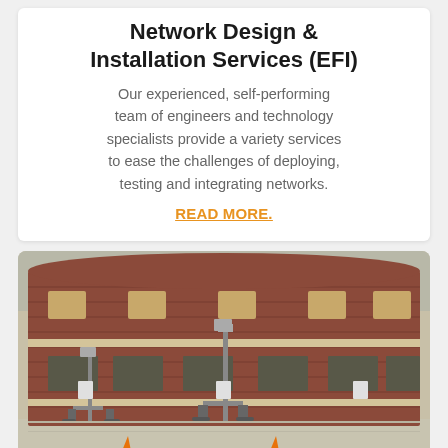Network Design & Installation Services (EFI)
Our experienced, self-performing team of engineers and technology specialists provide a variety services to ease the challenges of deploying, testing and integrating networks.
READ MORE.
[Figure (photo): Exterior photo of a multi-story brick building with scaffolding towers equipped with lights or cameras in the parking lot in front.]